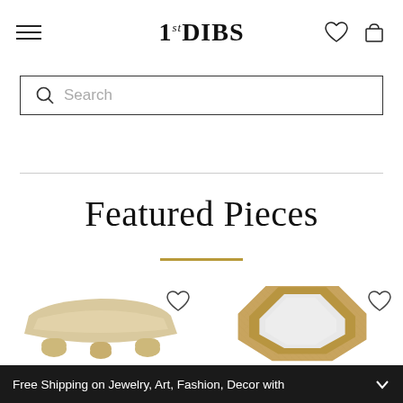1stDIBS
Search
Featured Pieces
[Figure (photo): Two product images: a beige triangular coffee table with curved legs on the left, and an octagonal mirror with a burl wood frame on the right, each with a heart (wishlist) icon.]
Free Shipping on Jewelry, Art, Fashion, Decor with